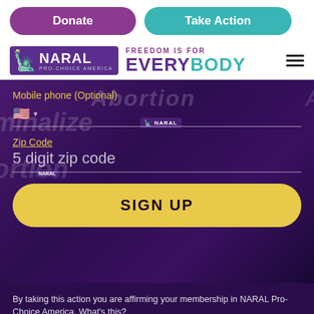Donate | Take Action
[Figure (logo): NARAL Pro-Choice America logo with Statue of Liberty icon and tagline FREEDOM IS FOR EVERYBODY]
Mobile phone (Optional)
Zip Code
5 digit zip code
SIGN UP
By taking this action you are affirming your membership in NARAL Pro-Choice America. What's this?